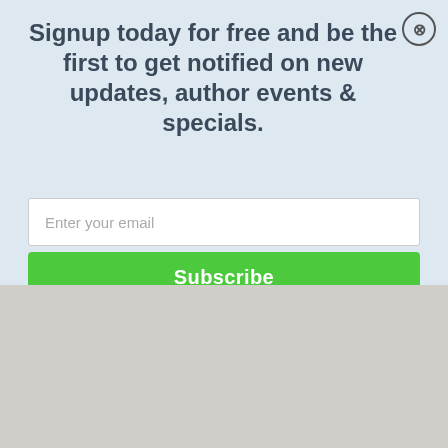Signup today for free and be the first to get notified on new updates, author events & specials.
Enter your email
Subscribe
Event - Tuesday August 23rd at 6pm
08/23/2022 - 6:00pm to 7:00pm
Red Sauce: How Italian Food Became American w/Ian MacAllen 8/24 @6pm
08/24/2022 - 6:00pm to 7:00pm
Smahtguy: The Life and Times of Barney Frank - Eric Orner & Barney Frank 8/27 @6pm
08/27/2022 - 6:00pm to 7:00pm
Khabaar: An Immigrant Journey of Food, Memory & Family 8/28 @6pm
08/28/2022 - 6:00pm to 7:00pm